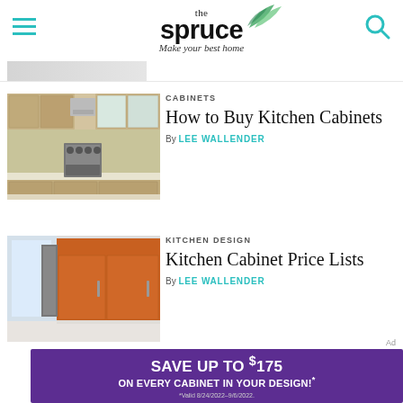the spruce — Make your best home
[Figure (photo): Kitchen with light wood cabinets, stainless steel range and hood]
CABINETS
How to Buy Kitchen Cabinets
By LEE WALLENDER
[Figure (photo): Modern kitchen with orange/wood flat-panel cabinets, large windows]
KITCHEN DESIGN
Kitchen Cabinet Price Lists
By LEE WALLENDER
SAVE UP TO $175 ON EVERY CABINET IN YOUR DESIGN!* *Valid 8/24/2022–9/6/2022.